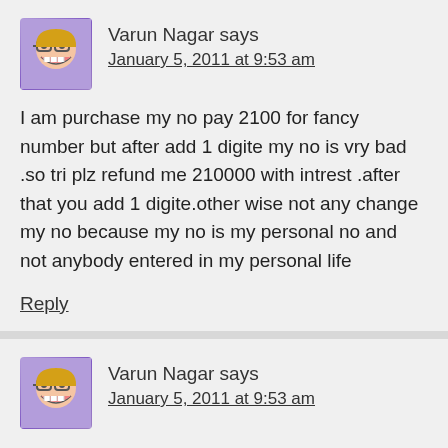Varun Nagar says
January 5, 2011 at 9:53 am
I am purchase my no pay 2100 for fancy number but after add 1 digite my no is vry bad .so tri plz refund me 210000 with intrest .after that you add 1 digite.other wise not any change my no because my no is my personal no and not anybody entered in my personal life
Reply
Varun Nagar says
January 5, 2011 at 9:53 am